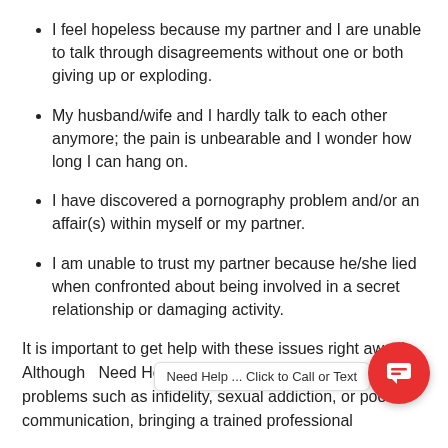I feel hopeless because my partner and I are unable to talk through disagreements without one or both giving up or exploding.
My husband/wife and I hardly talk to each other anymore; the pain is unbearable and I wonder how long I can hang on.
I have discovered a pornography problem and/or an affair(s) within myself or my partner.
I am unable to trust my partner because he/she lied when confronted about being involved in a secret relationship or damaging activity.
It is important to get help with these issues right away! Although Need Help ... Click to Call or Text help for problems such as infidelity, sexual addiction, or poor communication, bringing a trained professional…